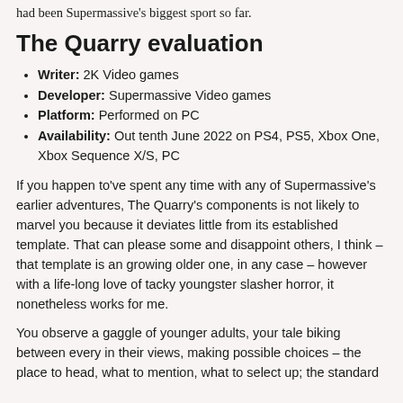had been Supermassive's biggest sport so far.
The Quarry evaluation
Writer: 2K Video games
Developer: Supermassive Video games
Platform: Performed on PC
Availability: Out tenth June 2022 on PS4, PS5, Xbox One, Xbox Sequence X/S, PC
If you happen to've spent any time with any of Supermassive's earlier adventures, The Quarry's components is not likely to marvel you because it deviates little from its established template. That can please some and disappoint others, I think – that template is an growing older one, in any case – however with a life-long love of tacky youngster slasher horror, it nonetheless works for me.
You observe a gaggle of younger adults, your tale biking between every in their views, making possible choices – the place to head, what to mention, what to select up; the standard